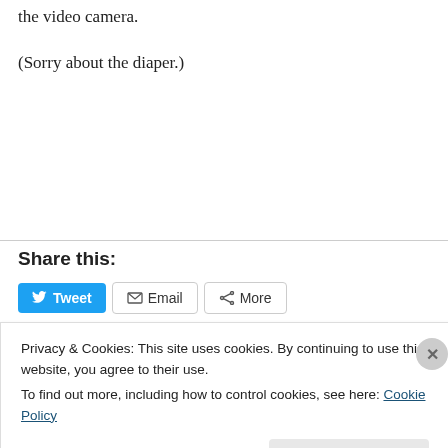the video camera.
(Sorry about the diaper.)
Share this:
[Figure (screenshot): Social sharing buttons: Tweet (blue Twitter button), Email (envelope icon button), More (share icon button)]
Privacy & Cookies: This site uses cookies. By continuing to use this website, you agree to their use.
To find out more, including how to control cookies, see here: Cookie Policy
Close and accept